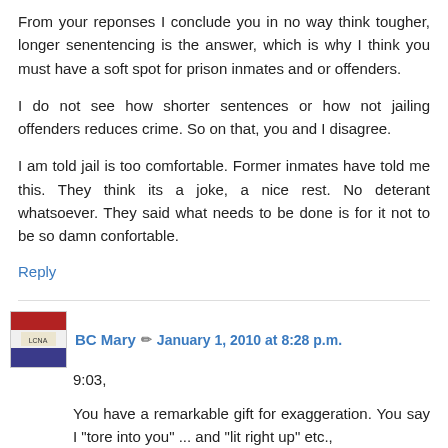From your reponses I conclude you in no way think tougher, longer senentencing is the answer, which is why I think you must have a soft spot for prison inmates and or offenders.
I do not see how shorter sentences or how not jailing offenders reduces crime. So on that, you and I disagree.
I am told jail is too comfortable. Former inmates have told me this. They think its a joke, a nice rest. No deterant whatsoever. They said what needs to be done is for it not to be so damn confortable.
Reply
BC Mary  January 1, 2010 at 8:28 p.m.
9:03,
You have a remarkable gift for exaggeration. You say I "tore into you" ... and "lit right up" etc.,